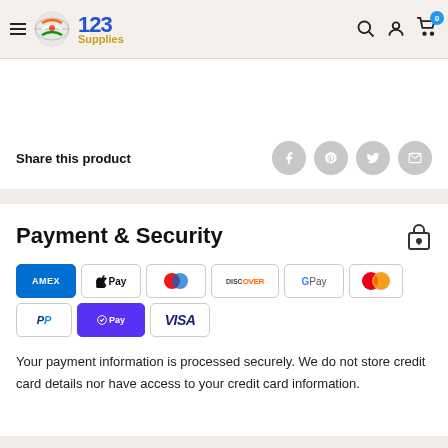123 Supplies — navigation header with hamburger menu, logo, search, account, and cart icons
Share this product
Payment & Security
[Figure (logo): Payment method logos: Amex, Apple Pay, Diners Club, Discover, Google Pay, Mastercard, PayPal, Shop Pay, Visa]
Your payment information is processed securely. We do not store credit card details nor have access to your credit card information.